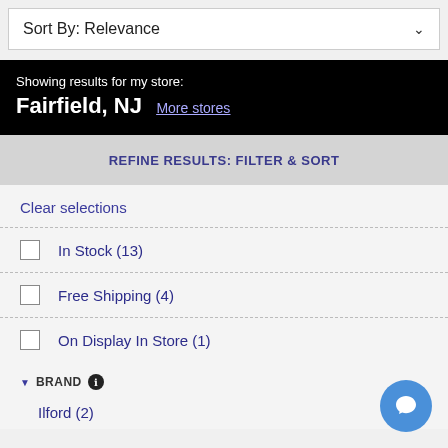Sort By: Relevance
Showing results for my store:
Fairfield, NJ   More stores
REFINE RESULTS: FILTER & SORT
Clear selections
In Stock (13)
Free Shipping (4)
On Display In Store (1)
BRAND
Ilford (2)